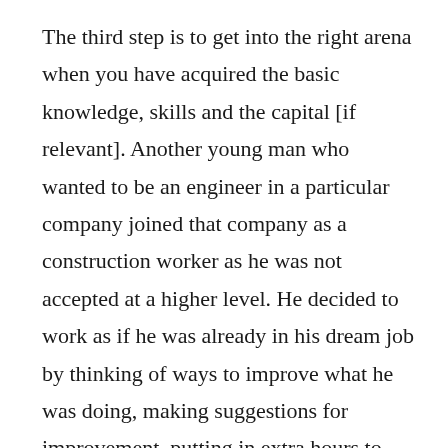The third step is to get into the right arena when you have acquired the basic knowledge, skills and the capital [if relevant]. Another young man who wanted to be an engineer in a particular company joined that company as a construction worker as he was not accepted at a higher level. He decided to work as if he was already in his dream job by thinking of ways to improve what he was doing, making suggestions for improvement, putting in extra hours to meet deadlines, teaching others and inspiring them to follow his lead in producing good results for his department. His behaviours were noticed by his manager who soon suggested him for a promotion, realizing the potential in his dynamic construction worker. This young man